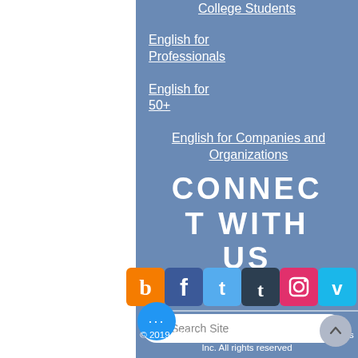College Students
English for Professionals
English for 50+
English for Companies and Organizations
CONNECT WITH US
[Figure (infographic): Six social media icons in a row: Blogger (orange), Facebook (blue), Twitter (light blue), Tumblr (dark blue), Instagram (pink/magenta), Vimeo (light blue)]
Search Site
© 2019-2022, A F International School of Languages Inc. All rights reserved